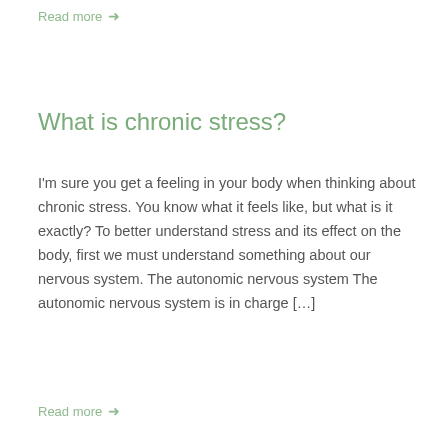Read more →
What is chronic stress?
I'm sure you get a feeling in your body when thinking about chronic stress. You know what it feels like, but what is it exactly? To better understand stress and its effect on the body, first we must understand something about our nervous system. The autonomic nervous system The autonomic nervous system is in charge […]
Read more →